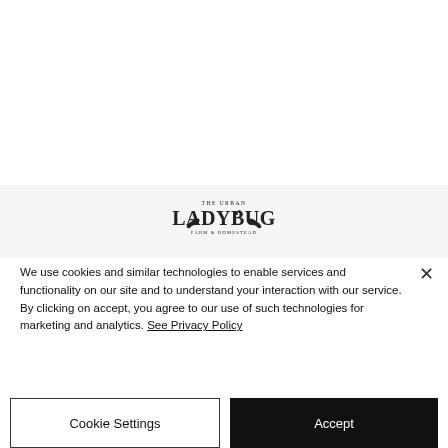[Figure (logo): The Urban Ladybug Farm & Homestead logo — decorative text with floral/leaf embellishments]
We use cookies and similar technologies to enable services and functionality on our site and to understand your interaction with our service. By clicking on accept, you agree to our use of such technologies for marketing and analytics. See Privacy Policy
Cookie Settings
Accept